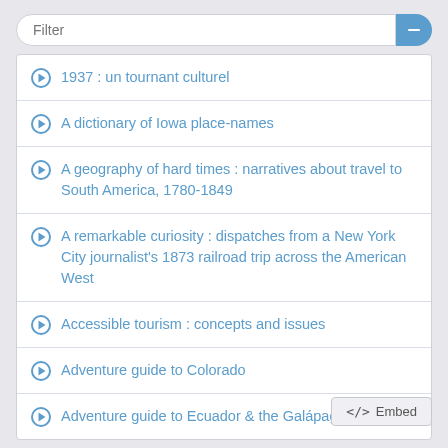1937 : un tournant culturel
A dictionary of Iowa place-names
A geography of hard times : narratives about travel to South America, 1780-1849
A remarkable curiosity : dispatches from a New York City journalist's 1873 railroad trip across the American West
Accessible tourism : concepts and issues
Adventure guide to Colorado
Adventure guide to Ecuador & the Galápagos Islands
</> Embed